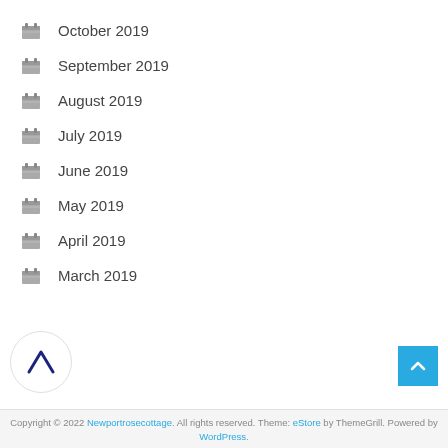October 2019
September 2019
August 2019
July 2019
June 2019
May 2019
April 2019
March 2019
Copyright © 2022 Newportrosecottage. All rights reserved. Theme: eStore by ThemeGrill. Powered by WordPress.